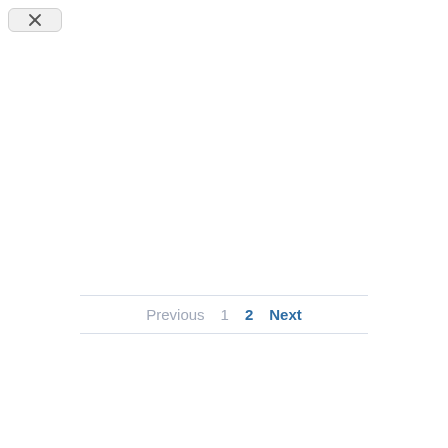[Figure (screenshot): Close/back button icon in top-left corner, rounded rectangle with an X icon]
Previous  1  2  Next